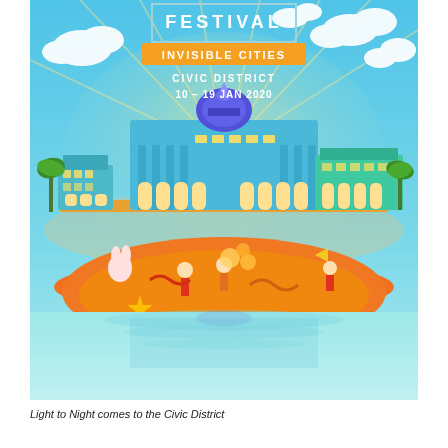[Figure (illustration): Festival poster for 'Light to Night Festival – Invisible Cities' at the Civic District, 10–19 Jan 2020. Colorful illustrated poster showing stylized colonial buildings lit in blue and teal tones floating above a vibrant orange scene with festive figures, set against a sky-blue sky with clouds and sunrays.]
Light to Night comes to the Civic District